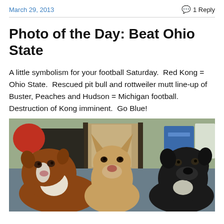March 29, 2013   1 Reply
Photo of the Day: Beat Ohio State
A little symbolism for your football Saturday.  Red Kong = Ohio State.  Rescued pit bull and rottweiler mutt line-up of Buster, Peaches and Hudson = Michigan football.  Destruction of Kong imminent.  Go Blue!
[Figure (photo): Three dogs (a brown and white pit bull on the left, a tan/fawn pit bull in the center, and a black dog on the right) sitting inside a room with blue-gray carpet, a red ball partially visible in the background upper left, and a blue bin upper right.]